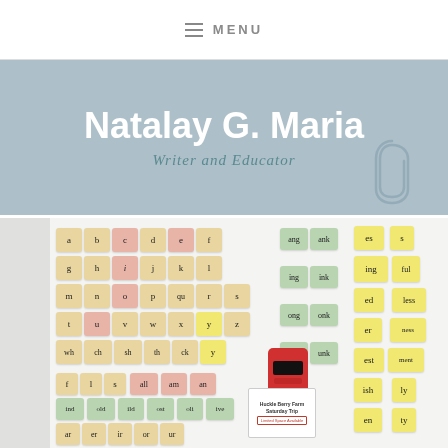MENU
Natalay G. Maria
Writer and Educator
[Figure (photo): A classroom phonics board covered with colorful sticky notes showing letters (a-z), digraphs (ch, sh, th, ck), word families (ang, ank, ing, ink, ong, onk, ung, unk), and suffixes (ing, ed, er, est, ish, en, ful, less, ness, ment, ly, ty). A red timer and a 'Huckle Berry Farm Saturday Trip' flyer are also visible.]